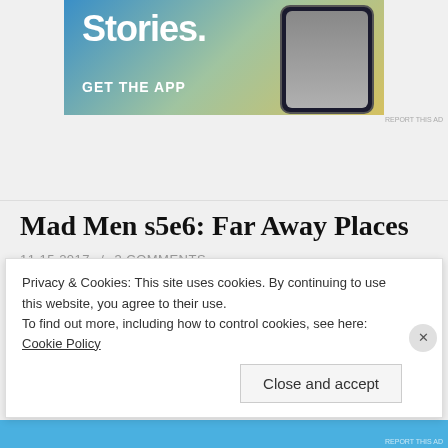[Figure (screenshot): App advertisement banner with gradient background showing 'Stories.' text and 'GET THE APP' call to action with phone mockup image]
Mad Men s5e6: Far Away Places
11.15.2017 / 3 COMMENTS
"Look at me. Everything is okay. You.. are okay."
Privacy & Cookies: This site uses cookies. By continuing to use this website, you agree to their use.
To find out more, including how to control cookies, see here: Cookie Policy
Close and accept